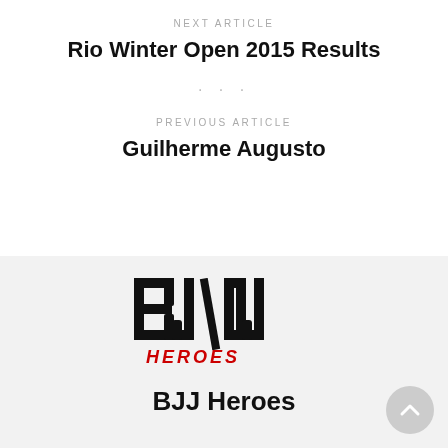NEXT ARTICLE
Rio Winter Open 2015 Results
• • •
PREVIOUS ARTICLE
Guilherme Augusto
[Figure (logo): BJJ Heroes logo — bold stylized letters BJ with double vertical strokes and italic red text 'heroes' below]
BJJ Heroes